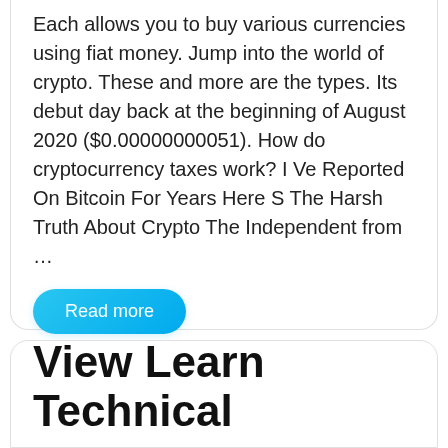Each allows you to buy various currencies using fiat money. Jump into the world of crypto. These and more are the types. Its debut day back at the beginning of August 2020 ($0.00000000051). How do cryptocurrency taxes work? I Ve Reported On Bitcoin For Years Here S The Harsh Truth About Crypto The Independent from …
Read more
Finance News
View Learn Technical